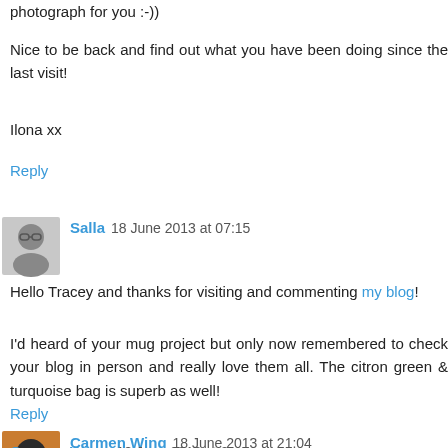photograph for you :-))
Nice to be back and find out what you have been doing since the last visit!
Ilona xx
Reply
Salla  18 June 2013 at 07:15
Hello Tracey and thanks for visiting and commenting my blog!
I'd heard of your mug project but only now remembered to check your blog in person and really love them all. The citron green & turquoise bag is superb as well!
Reply
Carmen Wing  18 June 2013 at 21:04
A "friend" made me eat a spoonful of Vegemite once. I